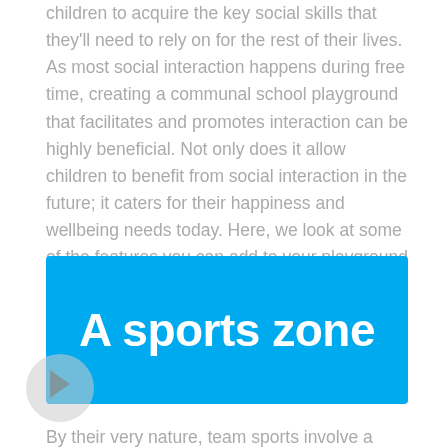children to acquire the key social skills that they'll need to rely on for the rest of their lives. As most social interaction happens during free time, creating a communal school playground that facilitates and promotes interaction can be highly beneficial. Not only does it allow children to benefit from social interaction in the future; it caters for their happiness and wellbeing needs today. Here, we look at some of the features you can add to your playground to make it more communal.
[Figure (other): Blue banner with white bold text reading 'A sports zone']
By their very nature, team sports involve a great